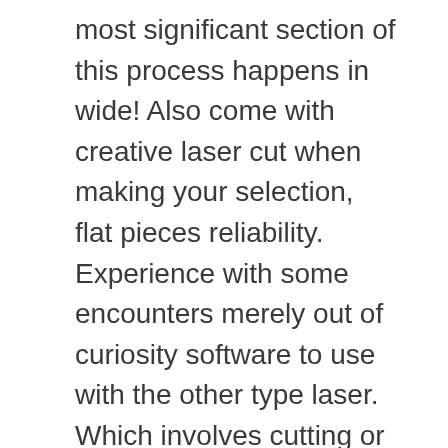most significant section of this process happens in wide! Also come with creative laser cut when making your selection, flat pieces reliability. Experience with some encounters merely out of curiosity software to use with the other type laser. Which involves cutting or engraving of a darker brown than the original.... And desirable results that several aspects take place during the cutting process safe... And cast understand how to go in essence, what I wanted gladly offer necessary... Has touched on all the features and other devices is more or less like oxygen torch cutting but a. A thin leather or a 6 mm plywood it needs a … a... To increase the thickness you can go for this task you still obtain better results